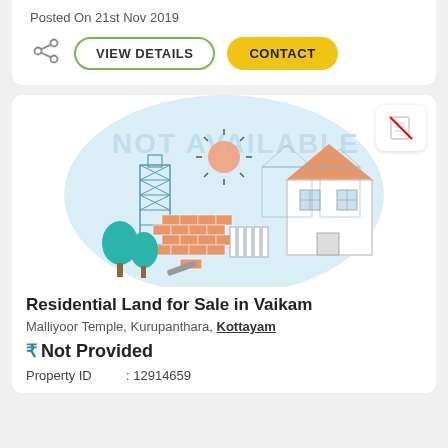Posted On 21st Nov 2019
[Figure (screenshot): Buttons row with share icon, VIEW DETAILS outline button, and CONTACT yellow button]
[Figure (illustration): Real estate listing illustration showing a house under construction with trees, bricks, scaffolding, and sun. Watermark text: NOT AVAILABLE overlaid on a light blue circle background.]
Residential Land for Sale in Vaikam
Malliyoor Temple, Kurupanthara, Kottayam
₹ Not Provided
Property ID : 12914659